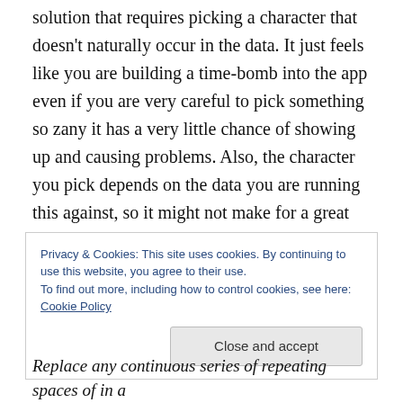solution that requires picking a character that doesn't naturally occur in the data. It just feels like you are building a time-bomb into the app even if you are very careful to pick something so zany it has a very little chance of showing up and causing problems. Also, the character you pick depends on the data you are running this against, so it might not make for a great generic solution.
So today's project was to find another way to skin that cat without inserting bogus characters into the data.
Privacy & Cookies: This site uses cookies. By continuing to use this website, you agree to their use.
To find out more, including how to control cookies, see here: Cookie Policy
[Close and accept]
Replace any continuous series of repeating spaces of in a